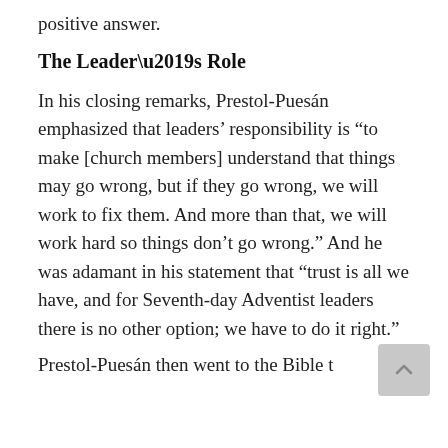positive answer.
The Leader’s Role
In his closing remarks, Prestol-Puesán emphasized that leaders’ responsibility is “to make [church members] understand that things may go wrong, but if they go wrong, we will work to fix them. And more than that, we will work hard so things don’t go wrong.” And he was adamant in his statement that “trust is all we have, and for Seventh-day Adventist leaders there is no other option; we have to do it right.”
Prestol-Puesán then went to the Bible t...